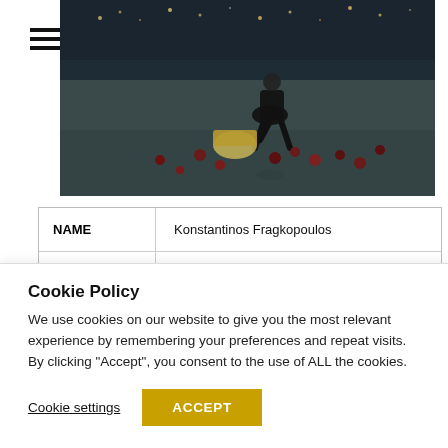[Figure (photo): A man bent over picking up scattered dark round objects (possibly apples or balls) from a paved surface at night, with a basket nearby and city lights in the background.]
| NAME |  |
| --- | --- |
| NAME | Konstantinos Fragkopoulos |
|  | Ilias Logothetis, Lena Kitsenopalou, Melina |
Cookie Policy
We use cookies on our website to give you the most relevant experience by remembering your preferences and repeat visits. By clicking “Accept”, you consent to the use of ALL the cookies.
Cookie settings
ACCEPT